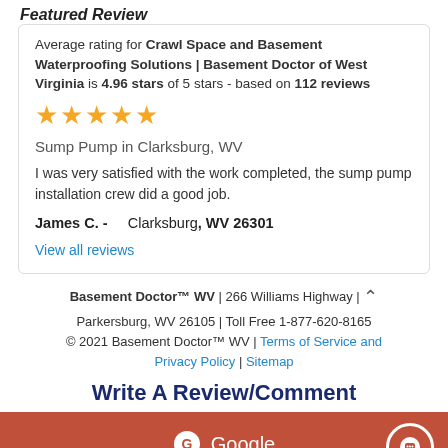Featured Review
Average rating for Crawl Space and Basement Waterproofing Solutions | Basement Doctor of West Virginia is 4.96 stars of 5 stars - based on 112 reviews
[Figure (other): Five gold star rating icons]
Sump Pump in Clarksburg, WV
I was very satisfied with the work completed, the sump pump installation crew did a good job.
James C. -    Clarksburg, WV 26301
View all reviews
Basement Doctor™ WV | 266 Williams Highway | Parkersburg, WV 26105 | Toll Free 1-877-620-8165 © 2021 Basement Doctor™ WV | Terms of Service and Privacy Policy | Sitemap
Write A Review/Comment
[Figure (other): Google review button in red/orange color with Google G icon]